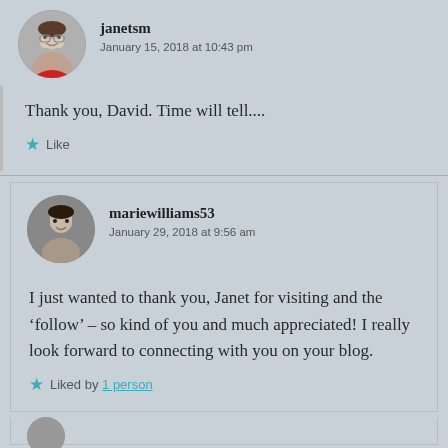janetsm
January 15, 2018 at 10:43 pm
Thank you, David. Time will tell....
Like
mariewilliams53
January 29, 2018 at 9:56 am
I just wanted to thank you, Janet for visiting and the ‘follow’ – so kind of you and much appreciated! I really look forward to connecting with you on your blog.
Liked by 1 person